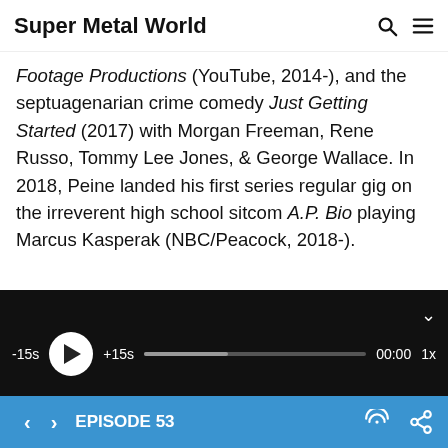Super Metal World
Footage Productions (YouTube, 2014-), and the septuagenarian crime comedy Just Getting Started (2017) with Morgan Freeman, Rene Russo, Tommy Lee Jones, & George Wallace. In 2018, Peine landed his first series regular gig on the irreverent high school sitcom A.P. Bio playing Marcus Kasperak (NBC/Peacock, 2018-).
[Figure (screenshot): Audio podcast player with play button, -15s and +15s skip buttons, progress bar showing 00:00, and 1x speed control on a dark background]
EPISODE 53